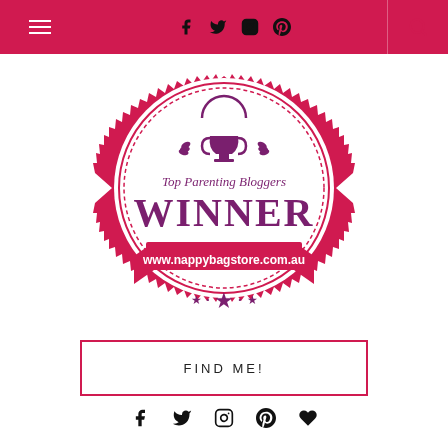Navigation header with hamburger menu, social icons (Facebook, Twitter, Instagram, Pinterest), and search icon
[Figure (logo): Top Parenting Bloggers WINNER badge from www.nappybagstore.com.au — circular pink/crimson badge with serrated edge, trophy icon with laurel wreaths, text 'Top Parenting Bloggers WINNER', ribbon banner with URL, and stars at bottom]
FIND ME!
Social icons: Facebook, Twitter, Instagram, Pinterest, Heart/Bloglovin